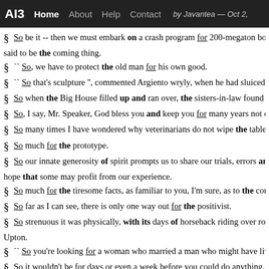AI3  Home  About  Help  Contact  by Javantea — Oct 2,
§ So be it -- then we must embark on a crash program for 200-megaton bomb said to be the coming thing.
§ `` So, we have to protect the old man for his own good.
§ `` So that's sculpture '', commented Argiento wryly, when he had sluiced do
§ So when the Big House filled up and ran over, the sisters-in-law found be
§ So, I say, Mr. Speaker, God bless you and keep you for many years not onl
§ So many times I have wondered why veterinarians do not wipe the table cl
§ So much for the prototype.
§ So our innate generosity of spirit prompts us to share our trials, errors and hope that some may profit from our experience.
§ So much for the tiresome facts, as familiar to you, I'm sure, as to the consta
§ So far as I can see, there is only one way out for the positivist.
§ So strenuous it was physically, with its days of horseback riding over roug Upton.
§ `` So you're looking for a woman who married a man who might have lived
§ So it wouldn't be for days or even a week before you could do anything.
§ So in the name of justice the magistrate cleared the court of all except offi
§ So they go looking for mergers with other firms that have publicly quoted
§ So junior's bedroom was usually tricked out with heavy, nondescript pieces relegated to the parlor where it was for show only.
§ The ...